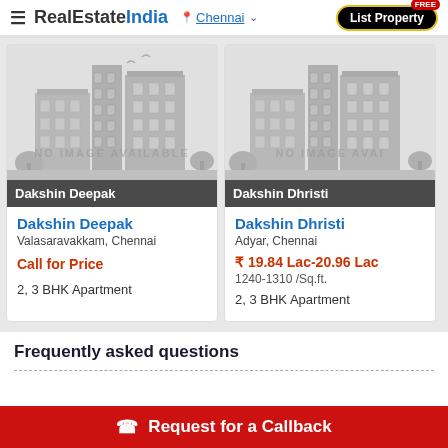RealEstateIndia — Chennai — List Property FREE
[Figure (screenshot): Property listing card for Dakshin Deepak with placeholder building image]
Dakshin Deepak
Dakshin Deepak
Valasaravakkam, Chennai
Call for Price
2, 3 BHK Apartment
[Figure (screenshot): Property listing card for Dakshin Dhristi with placeholder building image]
Dakshin Dhristi
Dakshin Dhristi
Adyar, Chennai
₹ 19.84 Lac-20.96 Lac
1240-1310 /Sq.ft.
2, 3 BHK Apartment
Frequently asked questions
Request for a Callback